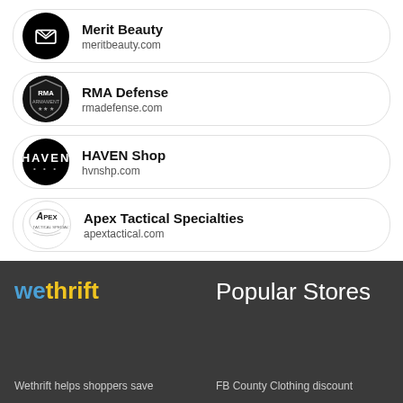[Figure (logo): Merit Beauty store card with black circular logo and envelope-like icon, showing store name Merit Beauty and URL meritbeauty.com]
[Figure (logo): RMA Defense store card with shield-shaped RMA Armament logo, showing store name RMA Defense and URL rmadefense.com]
[Figure (logo): HAVEN Shop store card with black circular HAVEN logo, showing store name HAVEN Shop and URL hvnshp.com]
[Figure (logo): Apex Tactical Specialties store card with Apex Tactical logo, showing store name Apex Tactical Specialties and URL apextactical.com]
[Figure (logo): Wethrift logo in blue and yellow text on dark background]
Popular Stores
Wethrift helps shoppers save
FB County Clothing discount